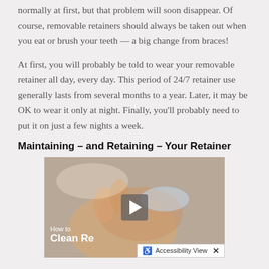normally at first, but that problem will soon disappear. Of course, removable retainers should always be taken out when you eat or brush your teeth — a big change from braces!
At first, you will probably be told to wear your removable retainer all day, every day. This period of 24/7 retainer use generally lasts from several months to a year. Later, it may be OK to wear it only at night. Finally, you'll probably need to put it on just a few nights a week.
Maintaining – and Retaining – Your Retainer
[Figure (screenshot): Video thumbnail showing hands holding a clear retainer, with a play button overlay. Text reads 'How to Clean Re...' and an Accessibility View bar at the bottom right.]